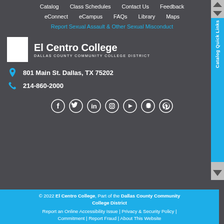Catalog | Class Schedules | Contact Us | Feedback
eConnect | eCampus | FAQs | Library | Maps
Report Sexual Assault & Other Sexual Misconduct
[Figure (logo): El Centro College logo — white square icon with El Centro College wordmark and Dallas County Community College District subtitle]
801 Main St. Dallas, TX 75202
214-860-2000
[Figure (infographic): Social media icons row: Facebook, Twitter, LinkedIn, Instagram, YouTube, Snapchat, Pinterest]
© 2022 El Centro College, Part of the Dallas County Community College District | Report an Online Accessibility Issue | Privacy & Security Policy | Commitment | Report Fraud | About This Website